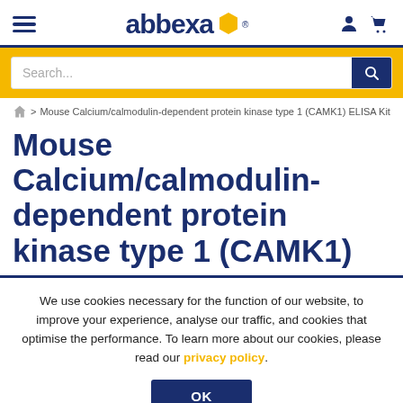abbexa
Search...
> Mouse Calcium/calmodulin-dependent protein kinase type 1 (CAMK1) ELISA Kit
Mouse Calcium/calmodulin-dependent protein kinase type 1 (CAMK1)
We use cookies necessary for the function of our website, to improve your experience, analyse our traffic, and cookies that optimise the performance. To learn more about our cookies, please read our privacy policy.
OK